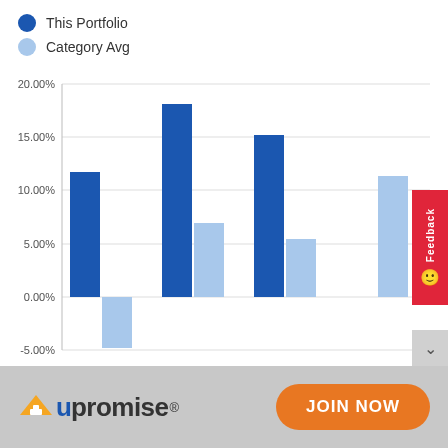[Figure (grouped-bar-chart): Portfolio vs Category Avg]
This Portfolio
Category Avg
[Figure (logo): Upromise logo with graduation cap]
JOIN NOW